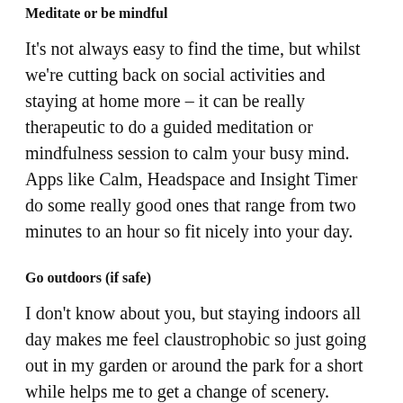Meditate or be mindful
It's not always easy to find the time, but whilst we're cutting back on social activities and staying at home more – it can be really therapeutic to do a guided meditation or mindfulness session to calm your busy mind. Apps like Calm, Headspace and Insight Timer do some really good ones that range from two minutes to an hour so fit nicely into your day.
Go outdoors (if safe)
I don't know about you, but staying indoors all day makes me feel claustrophobic so just going out in my garden or around the park for a short while helps me to get a change of scenery. Yesterday I was struggling with my anxiety so went out for a walk in the winter sunshine and it reset my mind wonderfully. Just feeling